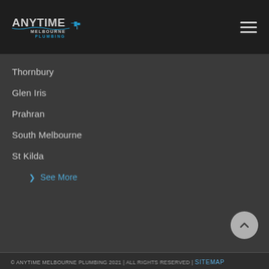Anytime Melbourne Plumbing — site header with logo and hamburger menu
Thornbury
Glen Iris
Prahran
South Melbourne
St Kilda
✓ See More
© ANYTIME MELBOURNE PLUMBING 2021 | ALL RIGHTS RESERVED | SITEMAP